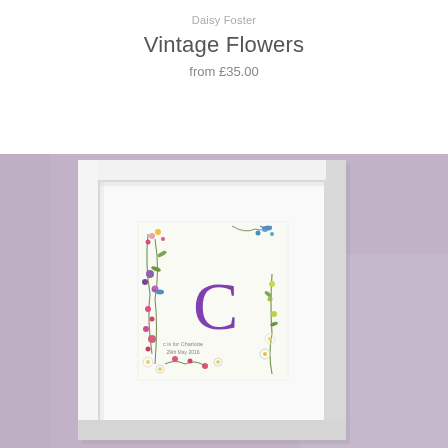Daisy Foster
Vintage Flowers
from £35.00
[Figure (photo): A white picture frame on a lavender/purple background, containing a decorative art print. The print shows a large purple letter 'C' surrounded by vintage floral illustrations with small birds and colorful flowers. Below the letter text reads 'c is for Charlotte' and '29th May 2016'.]